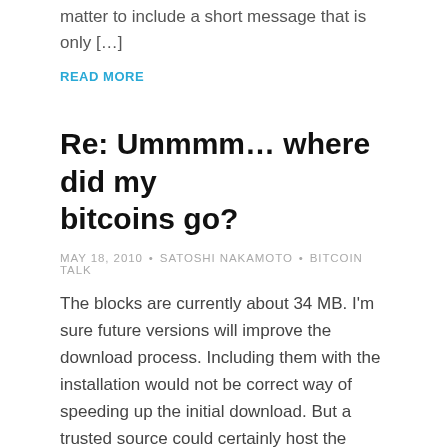matter to include a short message that is only […]
READ MORE
Re: Ummmm… where did my bitcoins go?
MAY 18, 2010 • SATOSHI NAKAMOTO • BITCOIN TALK
The blocks are currently about 34 MB. I'm sure future versions will improve the download process. Including them with the installation would not be correct way of speeding up the initial download. But a trusted source could certainly host the majority of the blocks as a separate download. That would […]
READ MORE